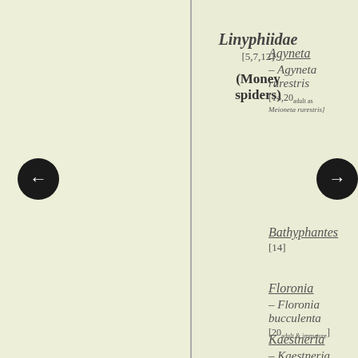Linyphiidae [5,7,12] (Money spiders)
Agyneta – Agyneta rurestris [14,20 adult as Meioneta rurestris]
Bathyphantes [14]
Floronia – Floronia bucculenta [20 adult & immature]
Kaestneria – Kaestneria dorsalis [14]